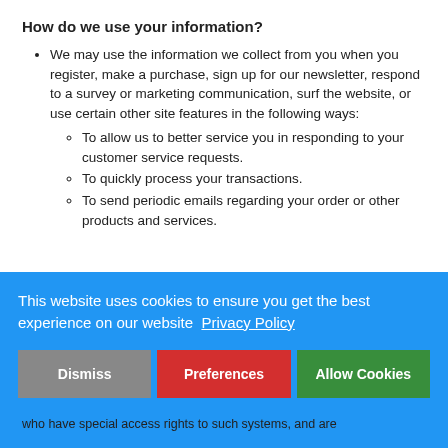How do we use your information?
We may use the information we collect from you when you register, make a purchase, sign up for our newsletter, respond to a survey or marketing communication, surf the website, or use certain other site features in the following ways:
To allow us to better service you in responding to your customer service requests.
To quickly process your transactions.
To send periodic emails regarding your order or other products and services.
This website uses cookies to ensure you get the best experience on our website  Privacy Policy
Dismiss  Preferences  Allow Cookies
who have special access rights to such systems, and are required to keep the information confidential.